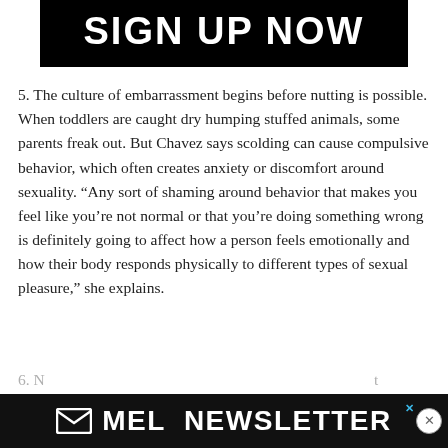[Figure (other): Black banner with white bold uppercase text reading SIGN UP NOW]
5. The culture of embarrassment begins before nutting is possible. When toddlers are caught dry humping stuffed animals, some parents freak out. But Chavez says scolding can cause compulsive behavior, which often creates anxiety or discomfort around sexuality. “Any sort of shaming around behavior that makes you feel like you’re not normal or that you’re doing something wrong is definitely going to affect how a person feels emotionally and how their body responds physically to different types of sexual pleasure,” she explains.
[Figure (other): Black banner with MEL envelope icon and white bold uppercase text reading MEL NEWSLETTER, with an X close button]
6. N… t